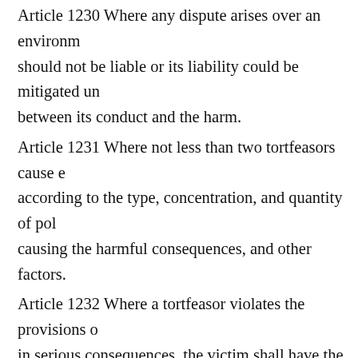Article 1230 Where any dispute arises over an environmental pollution should not be liable or its liability could be mitigated under between its conduct and the harm.
Article 1231 Where not less than two tortfeasors cause environmental pollution according to the type, concentration, and quantity of pollutants causing the harmful consequences, and other factors.
Article 1232 Where a tortfeasor violates the provisions of law and results in serious consequences, the victim shall have the right to request punitive damages.
Article 1233 Where environmental pollution or ecological damage is caused from either the tortfeasor or the third party. After making compensation...
Article 1234 Where a violation of the provisions issued by the state on environment are capable of remediation, the authority specified by law shall request the tortfeasor to assume the liability for remediation within a certain period; the state or the organization specified by law may conduct remediation...